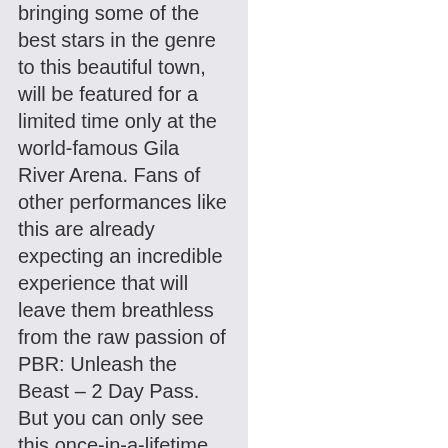bringing some of the best stars in the genre to this beautiful town, will be featured for a limited time only at the world-famous Gila River Arena. Fans of other performances like this are already expecting an incredible experience that will leave them breathless from the raw passion of PBR: Unleash the Beast – 2 Day Pass. But you can only see this once-in-a-lifetime event by coming to the Gila River Arena on Saturday 12th